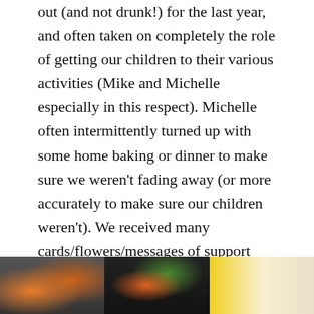out (and not drunk!) for the last year, and often taken on completely the role of getting our children to their various activities (Mike and Michelle especially in this respect). Michelle often intermittently turned up with some home baking or dinner to make sure we weren't fading away (or more accurately to make sure our children weren't). We received many cards/flowers/messages of support before we left which were hugely appreciated. We are so grateful to you all and hope you are still our friends after all this.
[Figure (photo): Three photos side by side: left shows items with orange/amber colors, middle shows flowers or food with green and orange tones, right shows cards or papers with yellow/white background.]